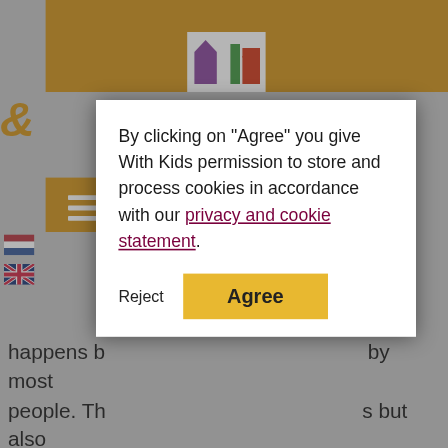[Figure (screenshot): Website screenshot showing orange header navigation bar with logo, Dutch and UK flags, and partial article text about London attractions. A cookie consent modal dialog is overlaid on top with text asking permission to store cookies, a 'Reject' button, and a yellow 'Agree' button.]
By clicking on "Agree" you give With Kids permission to store and process cookies in accordance with our privacy and cookie statement.
Reject
Agree
Greenwich
In Greenwich not only the prime meridian can be found at the Royal Observatory, but also the National Maritime Museum and the Old Royal Naval College. These 3 buildings are partially free to visit, but you have to pay for special exhibitions. At the square of the Royal Observatory you can see the prime meridian where photos can be taken (with a foot in the east and a foot in the west). However, this section is only for paying visitors. The prime meridian can also be